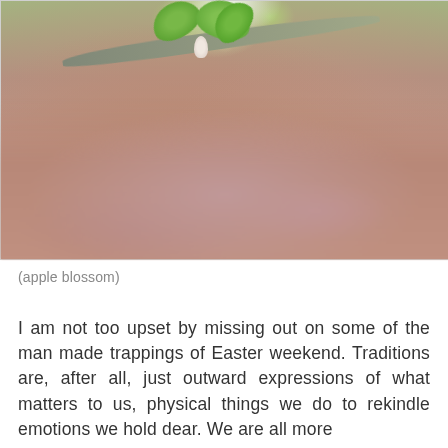[Figure (photo): Close-up photograph of an apple blossom bud hanging from a tree branch with green leaves, with blurred ground of reddish-brown pebbles/mulch visible below.]
(apple blossom)
I am not too upset by missing out on some of the man made trappings of Easter weekend. Traditions are, after all, just outward expressions of what matters to us, physical things we do to rekindle emotions we hold dear. We are all more